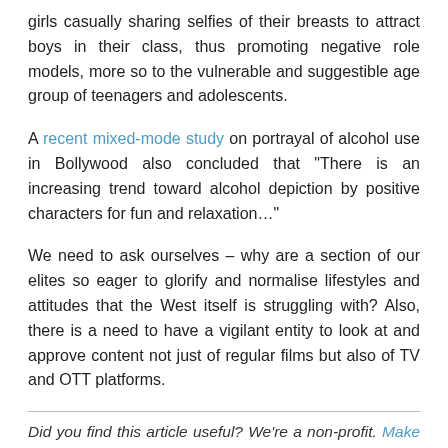girls casually sharing selfies of their breasts to attract boys in their class, thus promoting negative role models, more so to the vulnerable and suggestible age group of teenagers and adolescents.
A recent mixed-mode study on portrayal of alcohol use in Bollywood also concluded that "There is an increasing trend toward alcohol depiction by positive characters for fun and relaxation…"
We need to ask ourselves – why are a section of our elites so eager to glorify and normalise lifestyles and attitudes that the West itself is struggling with? Also, there is a need to have a vigilant entity to look at and approve content not just of regular films but also of TV and OTT platforms.
Did you find this article useful? We're a non-profit. Make a